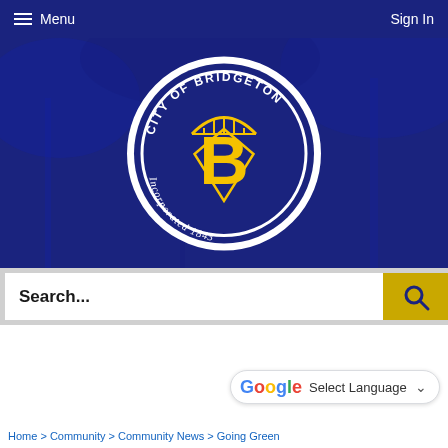Menu  Sign In
[Figure (logo): City of Bridgeton seal — circular blue seal with gold letter B and bridge, text 'City of Bridgeton Incorporated 1843']
Search...
G Select Language
Home > Community > Community News > Going Green